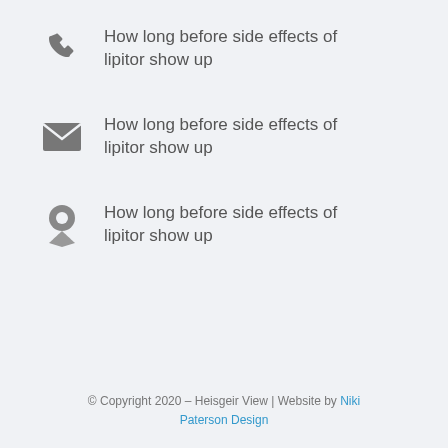How long before side effects of lipitor show up
How long before side effects of lipitor show up
How long before side effects of lipitor show up
© Copyright 2020 – Heisgeir View | Website by Niki Paterson Design